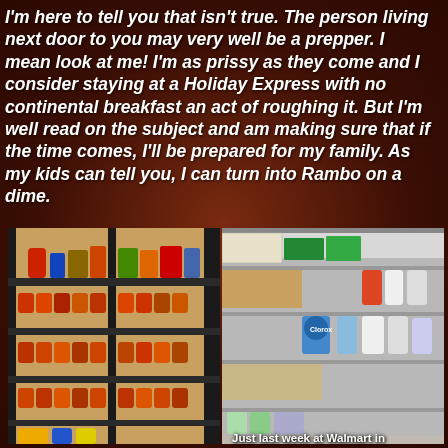I'm here to tell you that isn't true. The person living next door to you may very well be a prepper. I mean look at me! I'm as prissy as they come and I consider staying at a Holiday Express with no continental breakfast an act of roughing it. But I'm well read on the subject and am making sure that if the time comes, I'll be prepared for my family. As my kids can tell you, I can turn into Rambo on a dime.
[Figure (photo): Stocked shelves full of canned goods, water bottles, and other emergency supplies on dark metal shelving units]
[Figure (photo): Nearly empty store shelves at Walmart with only a few scattered cleaning products remaining]
Just last week at Walmart in